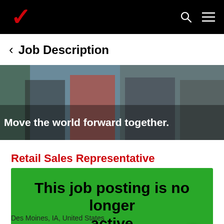Verizon — Job Description page header with logo, search icon, and menu icon
< Job Description
[Figure (photo): Hero banner photo showing Verizon employees working; overlaid white text: 'Move the world forward together.']
Retail Sales Representative
This job posting is no longer active
Des Moines, IA, United States